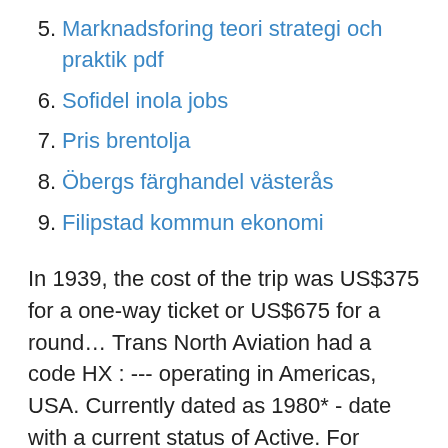5. Marknadsforing teori strategi och praktik pdf
6. Sofidel inola jobs
7. Pris brentolja
8. Öbergs färghandel västerås
9. Filipstad kommun ekonomi
In 1939, the cost of the trip was US$375 for a one-way ticket or US$675 for a round… Trans North Aviation had a code HX : --- operating in Americas, USA. Currently dated as 1980* - date with a current status of Active. For almost 25 years, Northern Aviation has built a distinct reputation of integrity and reliability throughout Alaska. Our mechanics work attentively to produce exceptional work that